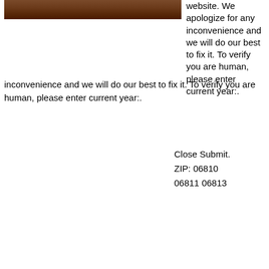[Figure (photo): Partial photo of a person, cropped at top of page, left side]
website. We apologize for any inconvenience and we will do our best to fix it. To verify you are human, please enter current year:.
Close Submit.
ZIP: 06810
06811 06813